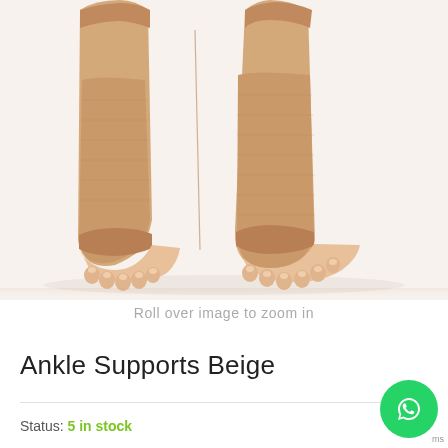[Figure (photo): Two feet wearing beige/skin-colored ankle support sleeves/braces, shown from the front on a white background. The open-toe sleeves wrap around the ankle and foot.]
Roll over image to zoom in
Ankle Supports Beige
Status: 5 in stock